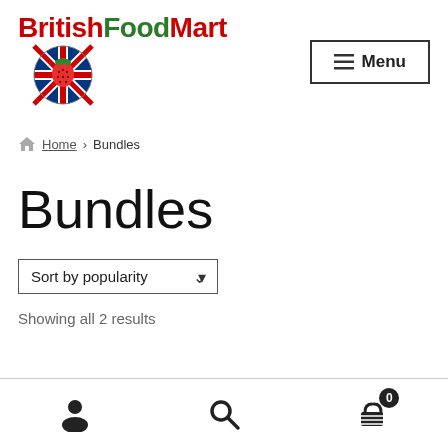BritishFoodMart [logo] Menu
Home > Bundles
Bundles
Sort by popularity
Showing all 2 results
[user icon] [search icon] [cart icon] 0